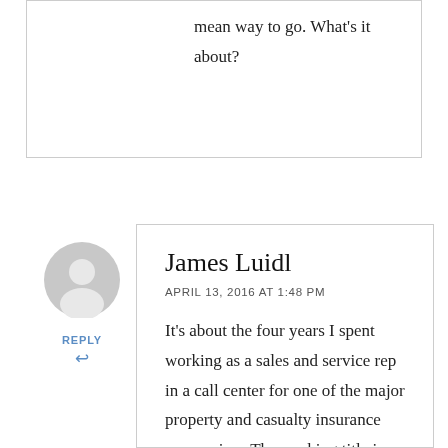mean way to go. What's it about?
[Figure (illustration): Grey circular avatar/user icon placeholder]
REPLY ↩
James Luidl
APRIL 13, 2016 AT 1:48 PM
It's about the four years I spent working as a sales and service rep in a call center for one of the major property and casualty insurance companies.. The working title is, Fear and Loathing in